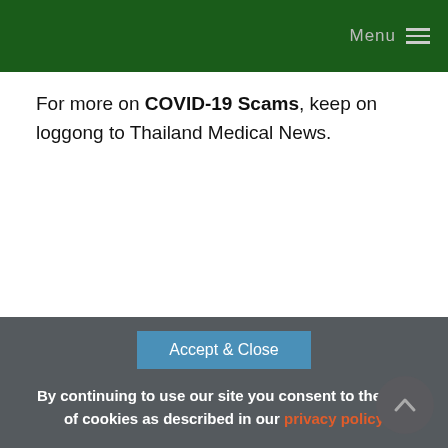Menu
For more on COVID-19 Scams, keep on loggong to Thailand Medical News.
Accept & Close
By continuing to use our site you consent to the use of cookies as described in our privacy policy